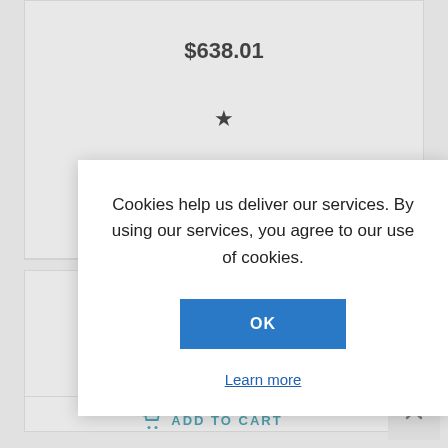$638.01
[Figure (screenshot): Black filled star icon (favorite/wishlist marker) in top product card]
[Figure (screenshot): Cookie consent modal dialog with text, OK button, and Learn more link]
Cookies help us deliver our services. By using our services, you agree to our use of cookies.
OK
Learn more
[Figure (screenshot): Black filled star icon (favorite/wishlist marker) in bottom product card]
ADD TO CART
[Figure (screenshot): Scroll-to-top button with double chevron up arrow, bottom right corner]